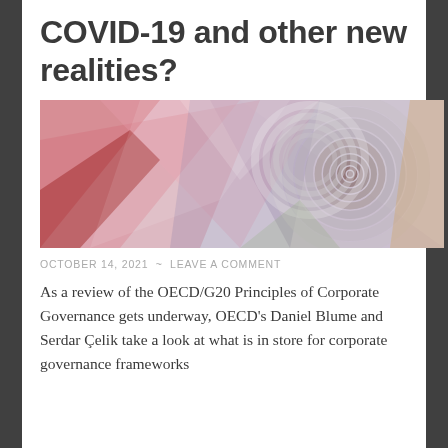COVID-19 and other new realities?
[Figure (illustration): Abstract geometric illustration with overlapping translucent triangles in red, pink, purple and concentric circles in grey and earth tones on a light background.]
OCTOBER 14, 2021 ~ LEAVE A COMMENT
As a review of the OECD/G20 Principles of Corporate Governance gets underway, OECD's Daniel Blume and Serdar Çelik take a look at what is in store for corporate governance frameworks